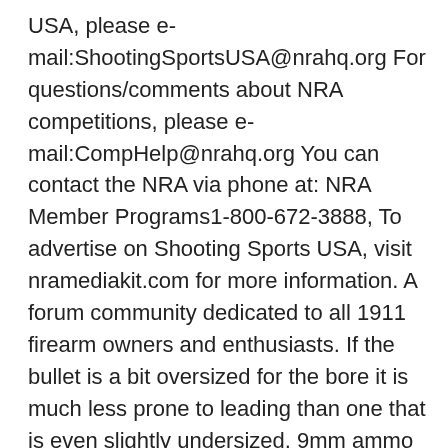USA, please e-mail:ShootingSportsUSA@nrahq.org For questions/comments about NRA competitions, please e-mail:CompHelp@nrahq.org You can contact the NRA via phone at: NRA Member Programs1-800-672-3888, To advertise on Shooting Sports USA, visit nramediakit.com for more information. A forum community dedicated to all 1911 firearm owners and enthusiasts. If the bullet is a bit oversized for the bore it is much less prone to leading than one that is even slightly undersized. 9mm ammo can be divided into three classes: light, medium power and supersonics and heavyweights. Give them a try. It has given me the best accuracy and reliability and it is more effective than lighter bullets on knock down steel targets. ... SIG, Beretta, or any other manufacturer know more about what weight spring works best ... Best bullet weight for 9mm. The three jacketed 158-grain bullets (Fiocchi, IMI, PPU) have a boat tail, while the Freedom Munitions 165-